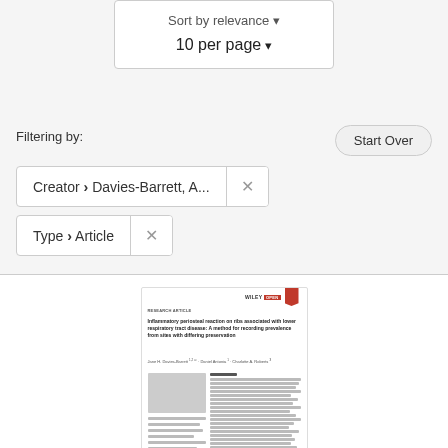Sort by relevance
10 per page
Filtering by:
Start Over
Creator > Davies-Barrett, A...  ×
Type > Article  ×
[Figure (screenshot): Thumbnail of a research article: 'Inflammatory periosteal reaction on ribs associated with lower respiratory tract disease: A method for recording prevalence from sites with differing preservation' by Jane H. Davies-Barrett et al., published in a Wiley journal.]